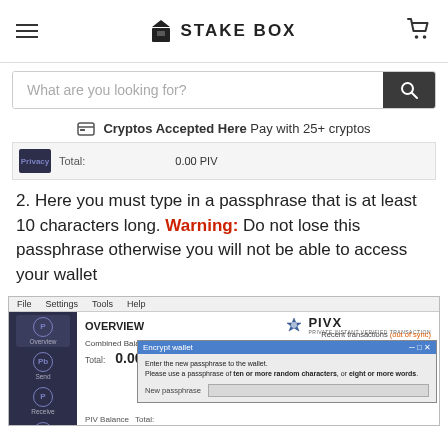STAKE BOX
What are you looking for?
Cryptos Accepted Here Pay with 25+ cryptos
[Figure (screenshot): PIVX wallet overview snippet showing Total: 0.00 PIV]
2. Here you must type in a passphrase that is at least 10 characters long. Warning: Do not lose this passphrase otherwise you will not be able to access your wallet
[Figure (screenshot): PIVX wallet application screenshot showing Overview screen with Combined Balance (out of sync), Total: 0.00 PIV, Recent transactions (out of sync), and Encrypt wallet dialog box with passphrase entry field]